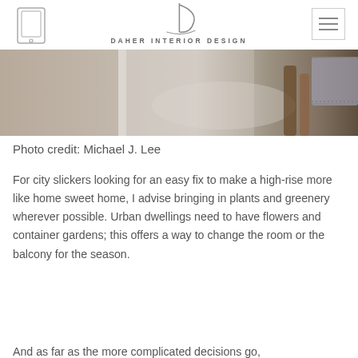DAHER INTERIOR DESIGN
[Figure (photo): Interior design photo showing a room with furniture, a decorative rug, and wooden chair legs, cropped at the bottom portion of a room scene.]
Photo credit: Michael J. Lee
For city slickers looking for an easy fix to make a high-rise more like home sweet home, I advise bringing in plants and greenery wherever possible. Urban dwellings need to have flowers and container gardens; this offers a way to change the room or the balcony for the season.
And as far as the more complicated decisions go,